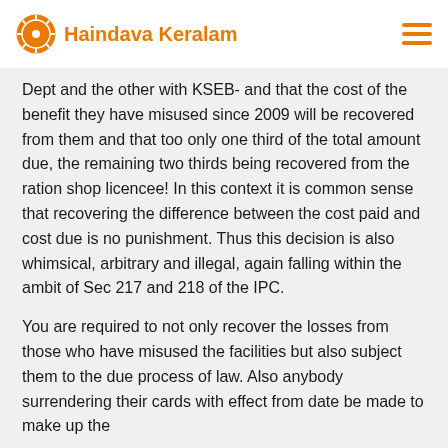Haindava Keralam
Dept and the other with KSEB- and that the cost of the benefit they have misused since 2009 will be recovered from them and that too only one third of the total amount due, the remaining two thirds being recovered from the ration shop licencee! In this context it is common sense that recovering the difference between the cost paid and cost due is no punishment. Thus this decision is also whimsical, arbitrary and illegal, again falling within the ambit of Sec 217 and 218 of the IPC.
You are required to not only recover the losses from those who have misused the facilities but also subject them to the due process of law. Also anybody surrendering their cards with effect from date be made to make up the